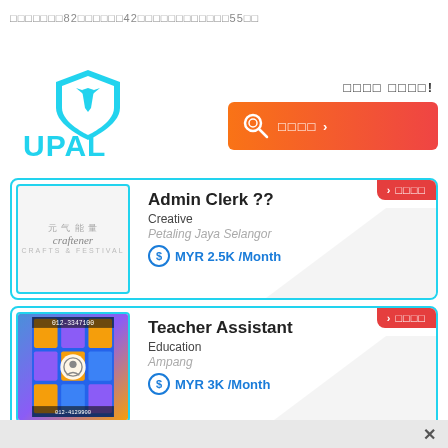□□□□□□□82□□□□□□42□□□□□□□□□□□□55□□
[Figure (logo): UPAL logo - blue shield icon with tie and UPAL text in blue]
□□□□ □□□□!
[Figure (infographic): Orange-red search button with magnifying glass icon and Japanese/CJK text]
[Figure (other): Job listing card: Admin Clerk ?? at Creative, Petaling Jaya Selangor, MYR 2.5K /Month with Craftener company logo]
[Figure (other): Job listing card: Teacher Assistant at Education, Ampang, MYR 3K /Month with colorful company image]